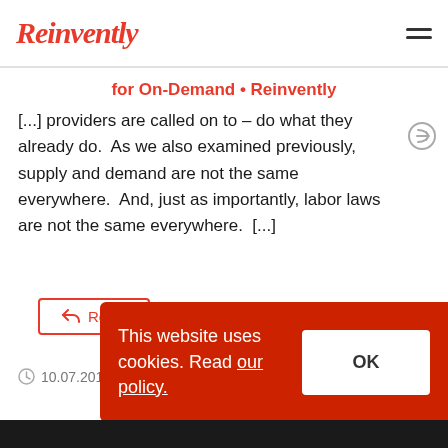Reinvently
for On-Demand • Reinvently
[...] providers are called on to – do what they already do.  As we also examined previously, supply and demand are not the same everywhere.  And, just as importantly, labor laws are not the same everywhere.  [...]
Reply
10.07.2018 13:12
This website uses cookies. Read our policy.
OK